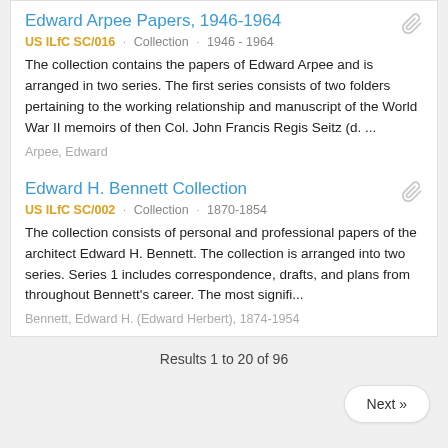Edward Arpee Papers, 1946-1964
US ILfC SC/016 · Collection · 1946 - 1964
The collection contains the papers of Edward Arpee and is arranged in two series. The first series consists of two folders pertaining to the working relationship and manuscript of the World War II memoirs of then Col. John Francis Regis Seitz (d. ...
Arpee, Edward
Edward H. Bennett Collection
US ILfC SC/002 · Collection · 1870-1854
The collection consists of personal and professional papers of the architect Edward H. Bennett. The collection is arranged into two series. Series 1 includes correspondence, drafts, and plans from throughout Bennett's career. The most signifi...
Bennett, Edward H. (Edward Herbert), 1874-1954
Results 1 to 20 of 96
Next »